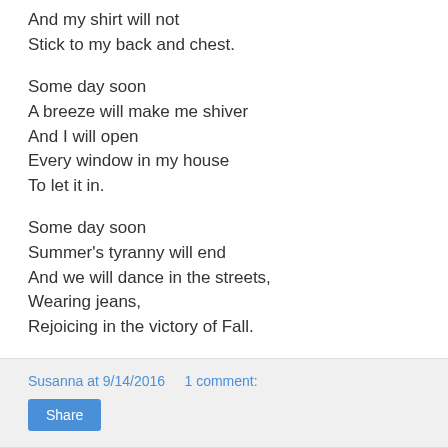And my shirt will not
Stick to my back and chest.
Some day soon
A breeze will make me shiver
And I will open
Every window in my house
To let it in.
Some day soon
Summer's tyranny will end
And we will dance in the streets,
Wearing jeans,
Rejoicing in the victory of Fall.
Susanna at 9/14/2016    1 comment:
Share
September 11, 2016
Creating a weekly family schedule